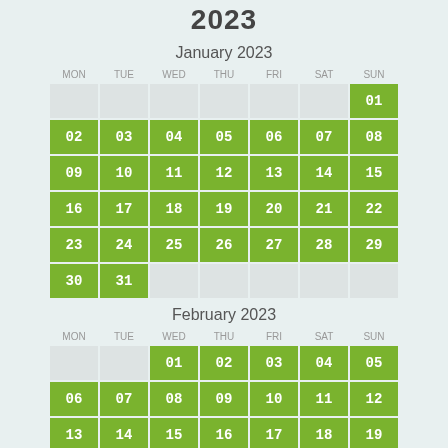2023
January 2023
| MON | TUE | WED | THU | FRI | SAT | SUN |
| --- | --- | --- | --- | --- | --- | --- |
|  |  |  |  |  |  | 01 |
| 02 | 03 | 04 | 05 | 06 | 07 | 08 |
| 09 | 10 | 11 | 12 | 13 | 14 | 15 |
| 16 | 17 | 18 | 19 | 20 | 21 | 22 |
| 23 | 24 | 25 | 26 | 27 | 28 | 29 |
| 30 | 31 |  |  |  |  |  |
February 2023
| MON | TUE | WED | THU | FRI | SAT | SUN |
| --- | --- | --- | --- | --- | --- | --- |
|  |  | 01 | 02 | 03 | 04 | 05 |
| 06 | 07 | 08 | 09 | 10 | 11 | 12 |
| 13 | 14 | 15 | 16 | 17 | 18 | 19 |
| 20 | 21 | 22 | 23 | 24 | 25 | 26 |
| 27 | 28 |  |  |  |  |  |